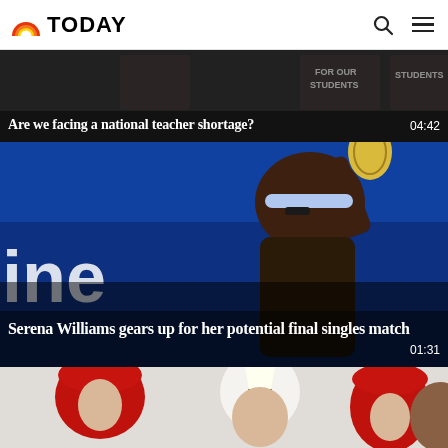TODAY
[Figure (photo): Protest scene with signs saying 'FOR OUR STUDENTS' in the background]
Are we facing a national teacher shortage? 04:42
[Figure (photo): Serena Williams swinging a tennis racket at what appears to be the US Open, blue background with 'ine' visible, wearing blue headband and black under-eye stripes]
Serena Williams gears up for her potential final singles match 01:31
[Figure (photo): Pope wearing white mitre surrounded by cardinals in red hats during a religious ceremony]